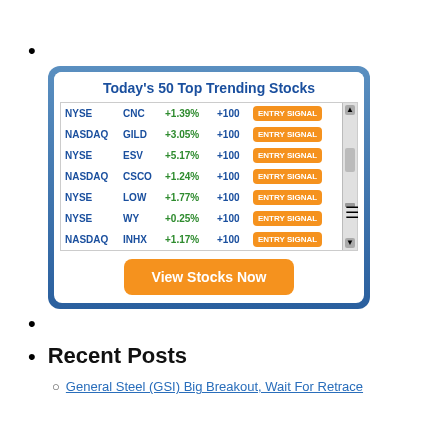[Figure (infographic): Today's 50 Top Trending Stocks widget showing NYSE and NASDAQ stocks CNC, GILD, ESV, CSCO, LOW, WY, INHX with percentage changes and entry signals, plus a 'View Stocks Now' button]
Recent Posts
General Steel (GSI) Big Breakout, Wait For Retrace